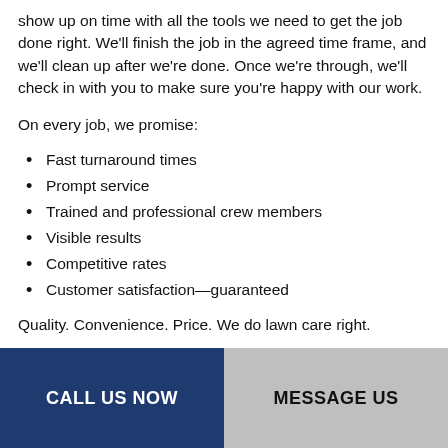show up on time with all the tools we need to get the job done right. We'll finish the job in the agreed time frame, and we'll clean up after we're done. Once we're through, we'll check in with you to make sure you're happy with our work.
On every job, we promise:
Fast turnaround times
Prompt service
Trained and professional crew members
Visible results
Competitive rates
Customer satisfaction—guaranteed
Quality. Convenience. Price. We do lawn care right.
CALL US NOW
MESSAGE US